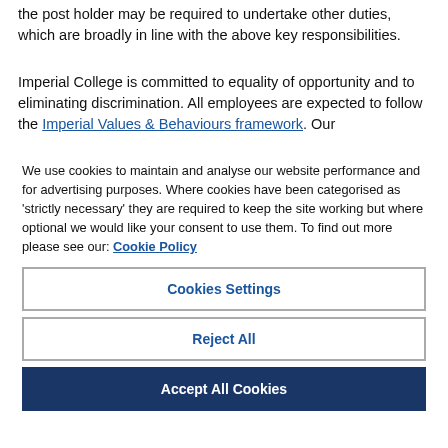the post holder may be required to undertake other duties, which are broadly in line with the above key responsibilities.
Imperial College is committed to equality of opportunity and to eliminating discrimination. All employees are expected to follow the Imperial Values & Behaviours framework. Our
We use cookies to maintain and analyse our website performance and for advertising purposes. Where cookies have been categorised as 'strictly necessary' they are required to keep the site working but where optional we would like your consent to use them. To find out more please see our: Cookie Policy
Cookies Settings
Reject All
Accept All Cookies